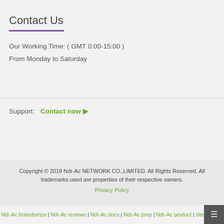Contact Us
Our Working Time:  ( GMT 0:00-15:00 )
From Monday to Saturday
Support:  Contact now 🔲
Copyright © 2019 Ndr-Ac NETWORK CO.,LIMITED. All Rights Reserved. All trademarks used are properties of their respective owners. Privacy Policy
Ndr-Ac braindumps | Ndr-Ac reviews | Ndr-Ac docs | Ndr-Ac prep | Ndr-Ac product | sitemap